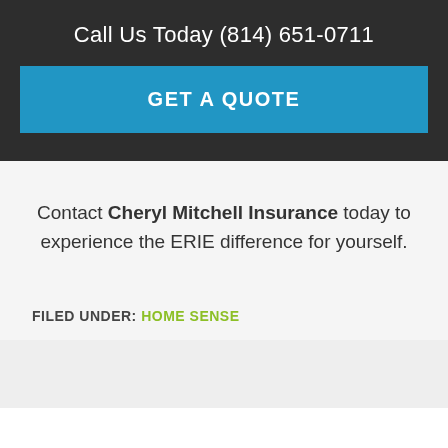Call Us Today (814) 651-0711
GET A QUOTE
Contact Cheryl Mitchell Insurance today to experience the ERIE difference for yourself.
FILED UNDER: HOME SENSE